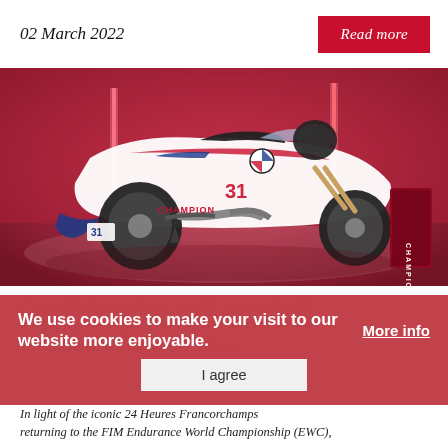02 March 2022
Read more
[Figure (photo): BMW Motorrad racing motorcycle (number 31) with white, blue, and red livery featuring 'CHAMPION' branding, photographed in a studio with red lighting and a 'CHAMPION' branded box/stand on the right.]
CHAMPION LUBRICANTS LAUNCHES PARTNERSHIP WITH BMW MOTORRAD WORLD ENDURANCE TEAM
We use cookies to make your visit to our website more enjoyable.
More info
I agree
In light of the iconic 24 Heures Francorchamps returning to the FIM Endurance World Championship (EWC),